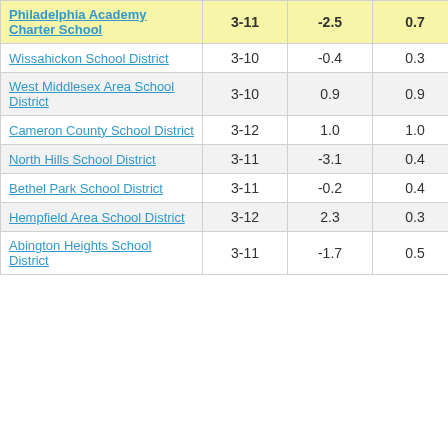| School/District | Grades | Col3 | Col4 | Score |
| --- | --- | --- | --- | --- |
| Philadelphia Academy Charter School | 3-11 | -2.5 | 0.7 | -3.55 |
| Wissahickon School District | 3-10 | -0.4 | 0.3 | -1.33 |
| West Middlesex Area School District | 3-10 | 0.9 | 0.9 | 1.06 |
| Cameron County School District | 3-12 | 1.0 | 1.0 | 1.04 |
| North Hills School District | 3-11 | -3.1 | 0.4 | -8.67 |
| Bethel Park School District | 3-11 | -0.2 | 0.4 | -0.56 |
| Hempfield Area School District | 3-12 | 2.3 | 0.3 | 7.58 |
| Abington Heights School District | 3-11 | -1.7 | 0.5 | -3.75 |